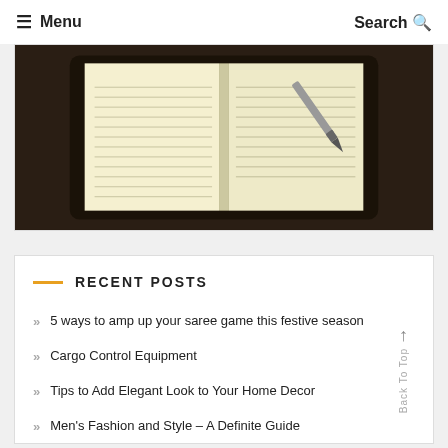≡ Menu   Search 🔍
[Figure (photo): Overhead view of an open notebook with lined pages and a pen, on a dark wooden desk surface]
RECENT POSTS
5 ways to amp up your saree game this festive season
Cargo Control Equipment
Tips to Add Elegant Look to Your Home Decor
Men's Fashion and Style – A Definite Guide